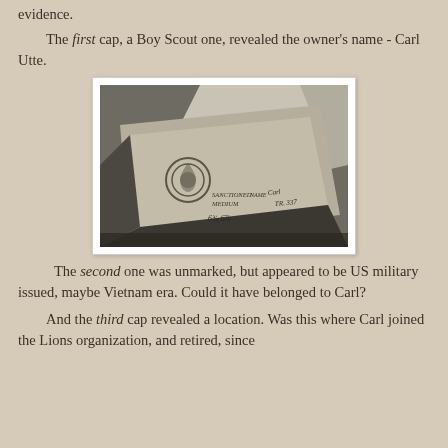evidence.
The first cap, a Boy Scout one, revealed the owner's name - Carl Utte.
[Figure (photo): Interior label of a Boy Scout cap showing a Boy Scout emblem, 'SANCTIONED MEDIUM' text, a handwritten name (Carl) and 'TR. 337', and size '6 3/4 - 6 7/8']
The second one was unmarked, but appeared to be US military issued, maybe Vietnam era. Could it have belonged to Carl?
And the third cap revealed a location. Was this where Carl joined the Lions organization, and retired, since